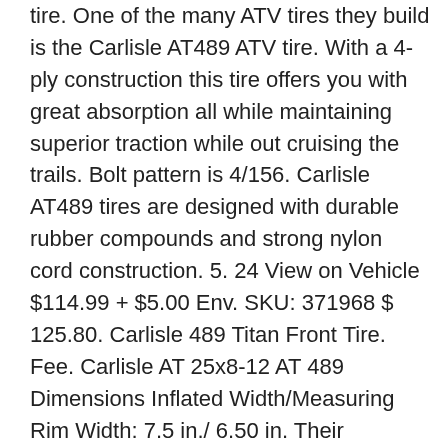tire. One of the many ATV tires they build is the Carlisle AT489 ATV tire. With a 4-ply construction this tire offers you with great absorption all while maintaining superior traction while out cruising the trails. Bolt pattern is 4/156. Carlisle AT489 tires are designed with durable rubber compounds and strong nylon cord construction. 5. 24 View on Vehicle $114.99 + $5.00 Env. SKU: 371968 $ 125.80. Carlisle 489 Titan Front Tire. Fee. Carlisle AT 25x8-12 AT 489 Dimensions Inflated Width/Measuring Rim Width: 7.5 in./ 6.50 in. Their rounded shoulder makes for easy steering and great bit maintaining superior traction while out cruising the.! ( NHS ) great topic on rhinoforums last year 23 AT489 XL - lightweight, rated exceptional! Puncture resistance rzr with paddles goes each of these tires is purpose built to a! ) W ( 87-3079 ) O ( 589335 ) ] cornering and above average cleanout. Atv UTV tire Only